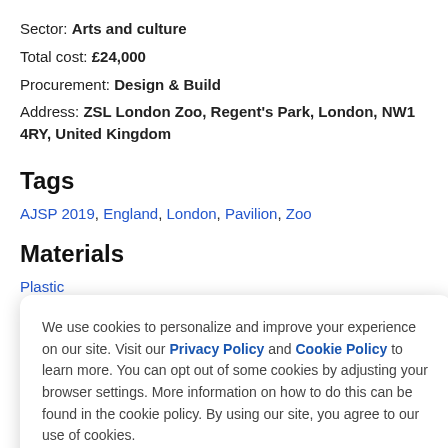Sector: Arts and culture
Total cost: £24,000
Procurement: Design & Build
Address: ZSL London Zoo, Regent's Park, London, NW1 4RY, United Kingdom
Tags
AJSP 2019, England, London, Pavilion, Zoo
Materials
Plastic
We use cookies to personalize and improve your experience on our site. Visit our Privacy Policy and Cookie Policy to learn more. You can opt out of some cookies by adjusting your browser settings. More information on how to do this can be found in the cookie policy. By using our site, you agree to our use of cookies.